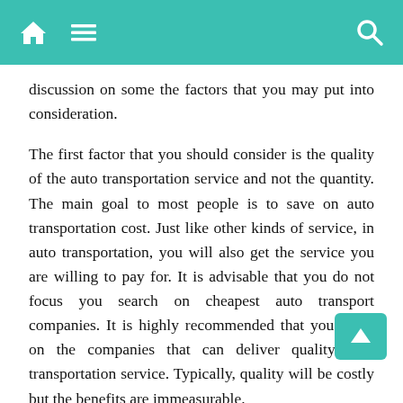Navigation bar with home, menu, and search icons
discussion on some the factors that you may put into consideration.
The first factor that you should consider is the quality of the auto transportation service and not the quantity. The main goal to most people is to save on auto transportation cost. Just like other kinds of service, in auto transportation, you will also get the service you are willing to pay for. It is advisable that you do not focus you search on cheapest auto transport companies. It is highly recommended that you focus on the companies that can deliver quality auto transportation service. Typically, quality will be costly but the benefits are immeasurable.
Another important tip that you will need to consider is whether the auto transport company can be trusted or not. There are companies that can never be trusted. Some auto transport